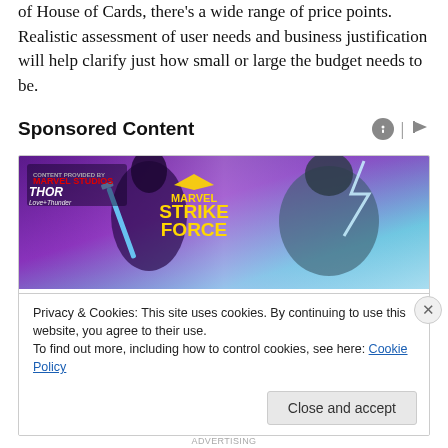of House of Cards, there's a wide range of price points. Realistic assessment of user needs and business justification will help clarify just how small or large the budget needs to be.
Sponsored Content
[Figure (illustration): Marvel Strike Force promotional banner featuring two female superhero characters, one with a blue sword and one in Thor-like armor, on a purple glowing background. Thor: Love and Thunder branding top left, Marvel Strike Force logo center.]
Privacy & Cookies: This site uses cookies. By continuing to use this website, you agree to their use.
To find out more, including how to control cookies, see here: Cookie Policy
Close and accept